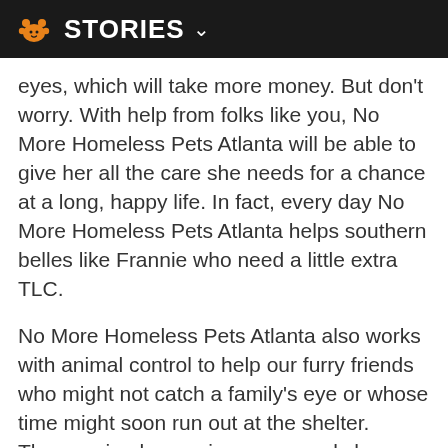STORIES
eyes, which will take more money. But don't worry. With help from folks like you, No More Homeless Pets Atlanta will be able to give her all the care she needs for a chance at a long, happy life. In fact, every day No More Homeless Pets Atlanta helps southern belles like Frannie who need a little extra TLC.
No More Homeless Pets Atlanta also works with animal control to help our furry friends who might not catch a family's eye or whose time might soon run out at the shelter. These animals are given a second chance to find new homes.
And with a face like Frannie's, we have no doubt she'll soon steal someone's heart.